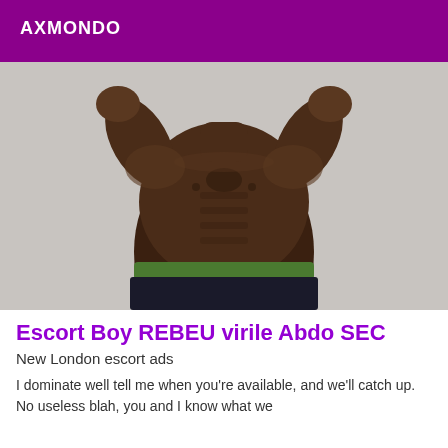AXMONDO
[Figure (photo): A muscular man with dark skin posing shirtless with fists raised, wearing dark shorts with a green waistband, photographed against a light gray background.]
Escort Boy REBEU virile Abdo SEC
New London escort ads
I dominate well tell me when you're available, and we'll catch up. No useless blah, you and I know what we